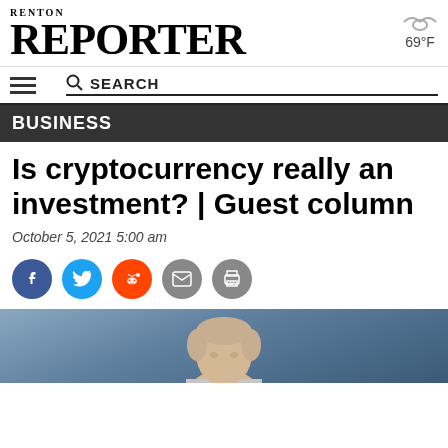Renton Reporter
BUSINESS
Is cryptocurrency really an investment? | Guest column
October 5, 2021 5:00 am
[Figure (other): Social share icons: Facebook, Twitter, Reddit, Email, Print]
[Figure (photo): Headshot photo of article author, partial view, blue background]